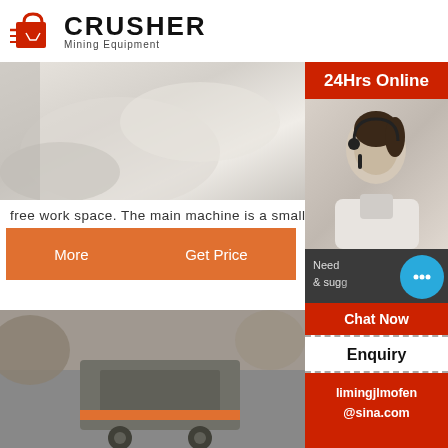[Figure (logo): Crusher Mining Equipment logo with red shopping bag icon and bold black text]
[Figure (photo): White/light-colored rock or stone aggregate in quarry setting]
[Figure (photo): Brown/tan rock pile or crushing site with road visible]
free work space. The main machine is a small jaw []
[Figure (other): Orange button with More and Get Price options, and Email contact input box]
[Figure (photo): Large jaw crusher machine at outdoor quarry site]
[Figure (photo): Mountain or quarry landscape with conveyor structure visible]
customers. [Feed size]: 150 ...
[Figure (infographic): Right sidebar: 24Hrs Online banner, agent photo with headset, Need & suggestions area with chat bubble, Chat Now button, Enquiry section, and limingjlmofen@sina.com email in red block]